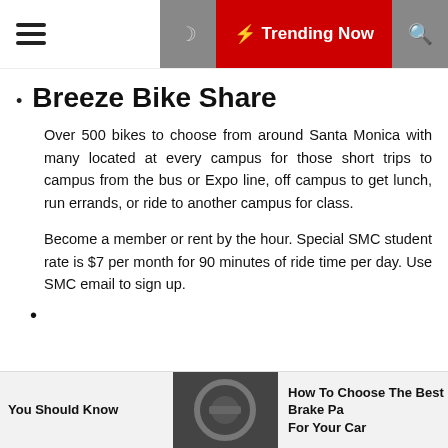☰  ☽  ⚡ Trending Now  🔍
Breeze Bike Share
Over 500 bikes to choose from around Santa Monica with many located at every campus for those short trips to campus from the bus or Expo line, off campus to get lunch, run errands, or ride to another campus for class.
Become a member or rent by the hour. Special SMC student rate is $7 per month for 90 minutes of ride time per day. Use SMC email to sign up.
You Should Know   How To Choose The Best Brake Pads For Your Car